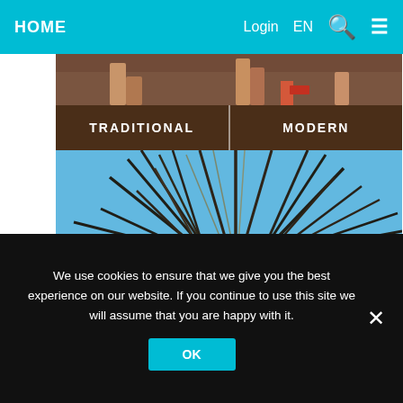HOME   Login   EN
[Figure (screenshot): Partial view of people's feet/legs at top, below the navigation bar]
TRADITIONAL   MODERN
[Figure (photo): Photo of a person with an elaborate feathered headdress against a blue sky, labelled Brazil]
Brazil
We use cookies to ensure that we give you the best experience on our website. If you continue to use this site we will assume that you are happy with it.